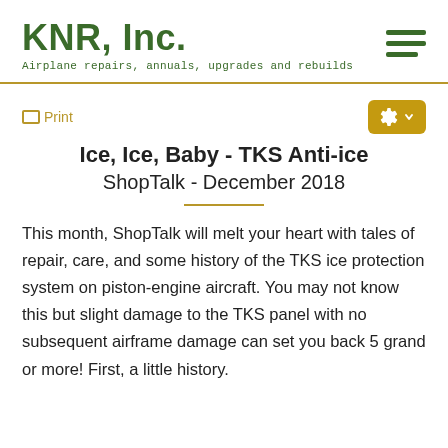KNR, Inc. — Airplane repairs, annuals, upgrades and rebuilds
Ice, Ice, Baby - TKS Anti-ice
ShopTalk - December 2018
This month, ShopTalk will melt your heart with tales of repair, care, and some history of the TKS ice protection system on piston-engine aircraft. You may not know this but slight damage to the TKS panel with no subsequent airframe damage can set you back 5 grand or more! First, a little history.